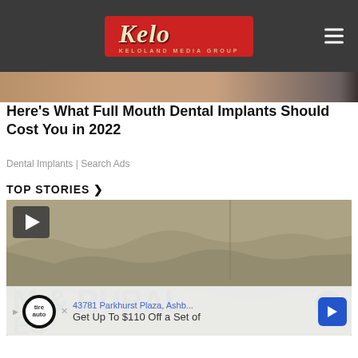Keloland Media Group
Here's What Full Mouth Dental Implants Should Cost You in 2022
Dental Implants | Search Ads
TOP STORIES ▸
[Figure (screenshot): Video thumbnail showing a map graphic with text 'M & RURAL' and 'ES' visible, with a play button in the top left corner and a close (x) button overlay]
43781 Parkhurst Plaza, Ashb... Get Up To $110 Off a Set of